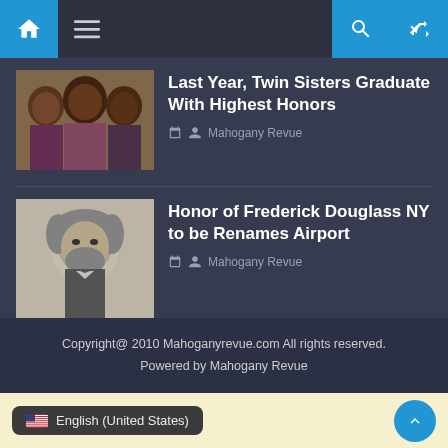Navigation bar with home, menu, search, and random icons
[Figure (photo): Photo of three young Black women/girls posing together, smiling]
Last Year, Twin Sisters Graduate With Highest Honors
Mahogany Revue
[Figure (photo): Black and white historical portrait photo of Frederick Douglass]
Honor of Frederick Douglass NY to be Renames Airport
Mahogany Revue
Copyright@ 2010 Mahoganyrevue.com All rights reserved. Powered by Mahogany Revue
English (United States)